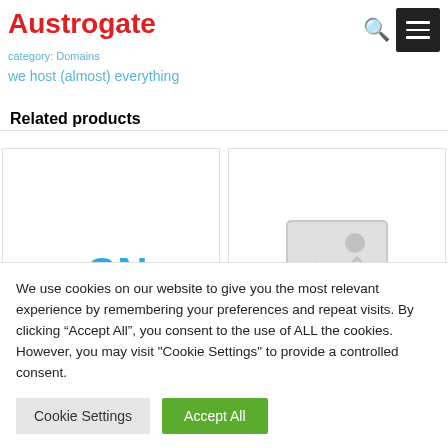Austrogate
category: Domains
we host (almost) everything
Related products
[Figure (other): .CN domain logo product card showing .CN in large cyan text, with label '.CN (China)' and a partially visible price below]
[Figure (other): Placeholder image box with gray mountain/sun icon indicating no product image available]
We use cookies on our website to give you the most relevant experience by remembering your preferences and repeat visits. By clicking “Accept All”, you consent to the use of ALL the cookies. However, you may visit "Cookie Settings" to provide a controlled consent.
Cookie Settings
Accept All